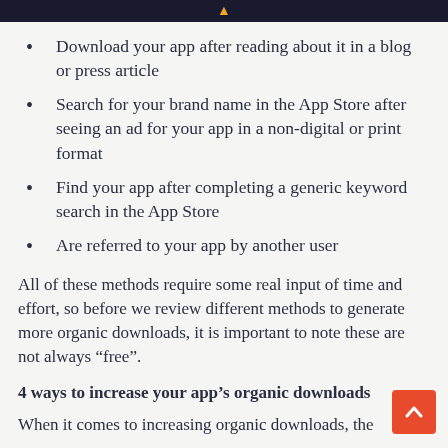Download your app after reading about it in a blog or press article
Search for your brand name in the App Store after seeing an ad for your app in a non-digital or print format
Find your app after completing a generic keyword search in the App Store
Are referred to your app by another user
All of these methods require some real input of time and effort, so before we review different methods to generate more organic downloads, it is important to note these are not always “free”.
4 ways to increase your app’s organic downloads
When it comes to increasing organic downloads, the